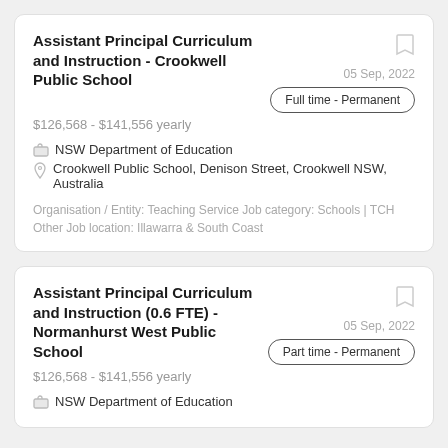Assistant Principal Curriculum and Instruction - Crookwell Public School
05 Sep, 2022
Full time - Permanent
$126,568 - $141,556 yearly
NSW Department of Education
Crookwell Public School, Denison Street, Crookwell NSW, Australia
Organisation / Entity: Teaching Service Job category: Schools | TCH Other Job location: Illawarra & South Coast
Assistant Principal Curriculum and Instruction (0.6 FTE) - Normanhurst West Public School
05 Sep, 2022
Part time - Permanent
$126,568 - $141,556 yearly
NSW Department of Education